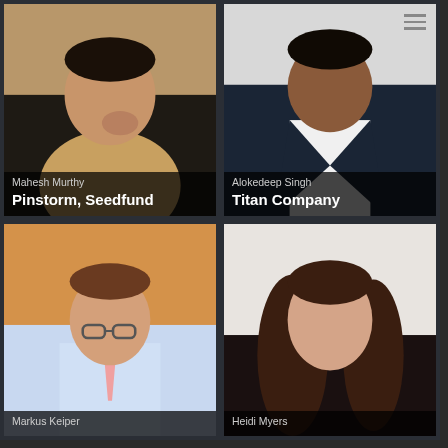[Figure (photo): Photo of Mahesh Murthy, person in suit with hand on chin]
Mahesh Murthy
Pinstorm, Seedfund
[Figure (photo): Photo of Alokedeep Singh, person in dark suit]
Alokedeep Singh
Titan Company
[Figure (photo): Photo of Markus Keiper, man with glasses in light blue shirt and pink tie]
Markus Keiper
[Figure (photo): Photo of Heidi Myers, woman with long brown hair]
Heidi Myers